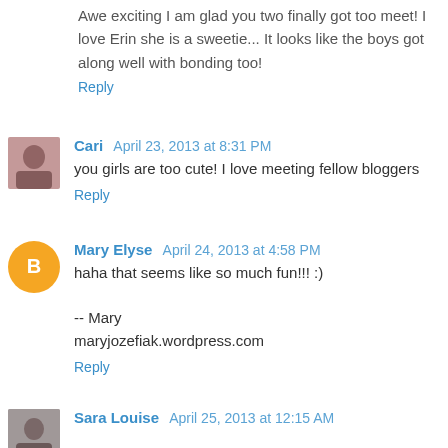Awe exciting I am glad you two finally got too meet! I love Erin she is a sweetie... It looks like the boys got along well with bonding too!
Reply
Cari April 23, 2013 at 8:31 PM
you girls are too cute! I love meeting fellow bloggers
Reply
Mary Elyse April 24, 2013 at 4:58 PM
haha that seems like so much fun!!! :)

-- Mary
maryjozefiak.wordpress.com
Reply
Sara Louise April 25, 2013 at 12:15 AM